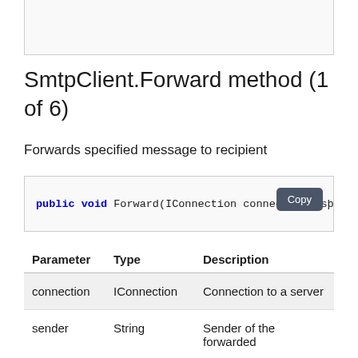[Figure (screenshot): Top partial screenshot box (cropped image area at top of page)]
SmtpClient.Forward method (1 of 6)
Forwards specified message to recipient
public void Forward(IConnection connection, s…, s…
| Parameter | Type | Description |
| --- | --- | --- |
| connection | IConnection | Connection to a server |
| sender | String | Sender of the forwarded |